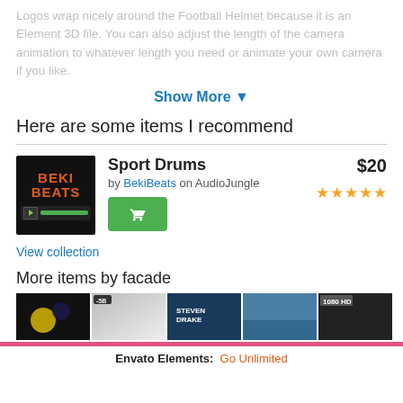Logos wrap nicely around the Football Helmet because it is an Element 3D file. You can also adjust the length of the camera animation to whatever length you need or animate your own camera if you like.
Show More ▾
Here are some items I recommend
[Figure (screenshot): Product listing for Sport Drums by BekiBeats on AudioJungle, priced at $20 with 5 star rating and a buy button. Thumbnail shows BEKI BEATS logo on black background with green audio player bar.]
View collection
More items by facade
[Figure (screenshot): Row of 5 product thumbnails showing various video/media items by facade]
Envato Elements: Go Unlimited